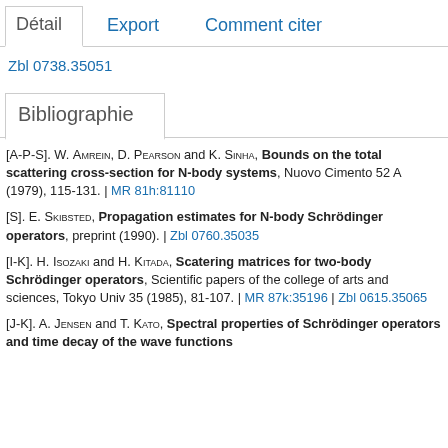Détail | Export | Comment citer
Zbl 0738.35051
Bibliographie
[A-P-S]. W. Amrein, D. Pearson and K. Sinha, Bounds on the total scattering cross-section for N-body systems, Nuovo Cimento 52 A (1979), 115-131. | MR 81h:81110
[S]. E. Skibsted, Propagation estimates for N-body Schrödinger operators, preprint (1990). | Zbl 0760.35035
[I-K]. H. Isozaki and H. Kitada, Scatering matrices for two-body Schrödinger operators, Scientific papers of the college of arts and sciences, Tokyo Univ 35 (1985), 81-107. | MR 87k:35196 | Zbl 0615.35065
[J-K]. A. Jensen and T. Kato, Spectral properties of Schrödinger operators and time decay of the wave functions